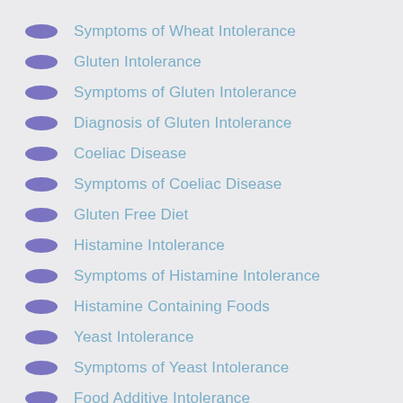Symptoms of Wheat Intolerance
Gluten Intolerance
Symptoms of Gluten Intolerance
Diagnosis of Gluten Intolerance
Coeliac Disease
Symptoms of Coeliac Disease
Gluten Free Diet
Histamine Intolerance
Symptoms of Histamine Intolerance
Histamine Containing Foods
Yeast Intolerance
Symptoms of Yeast Intolerance
Food Additive Intolerance
Types of Food Additive Intolerances